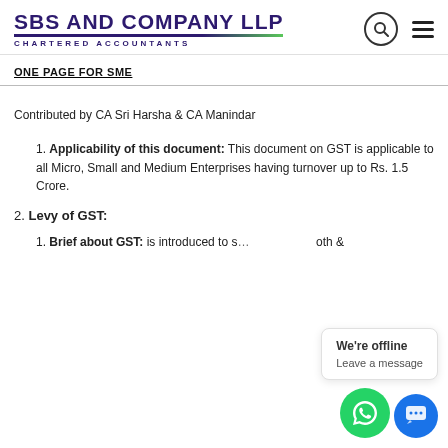SBS AND COMPANY LLP CHARTERED ACCOUNTANTS
ONE PAGE FOR SME
Contributed by CA Sri Harsha & CA Manindar
Applicability of this document: This document on GST is applicable to all Micro, Small and Medium Enterprises having turnover up to Rs. 1.5 Crore.
Levy of GST:
Brief about GST: ... is introduced to s... ...oth ... is introduced to s... The constitution...